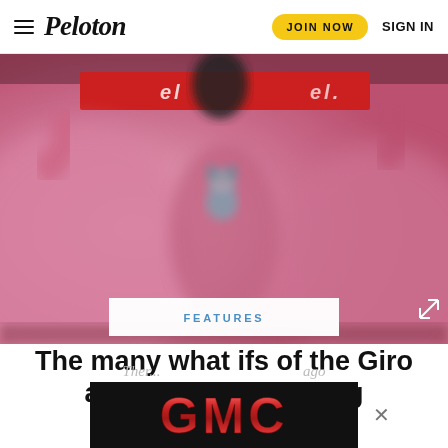≡ Peloton   JOIN NOW   SIGN IN
[Figure (photo): Blurred photo of people in pink jerseys at a cycling event, with a small stuffed animal mascot visible in the center. A red sponsor banner is visible in the background.]
FEATURES
The many what ifs of the Giro and grand tour racing
[Figure (other): GMC advertisement banner with red metallic GMC logo on black background]
There...                                 ago